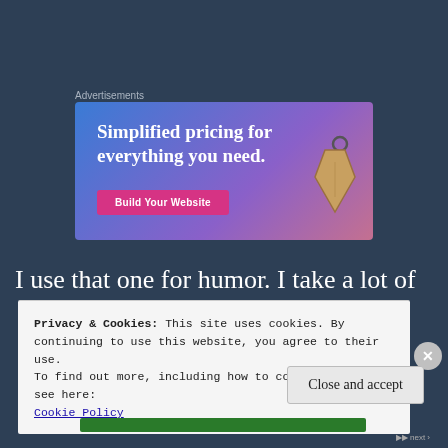Advertisements
[Figure (illustration): Advertisement banner with gradient blue-purple background showing text 'Simplified pricing for everything you need.' with a pink 'Build Your Website' button and a price tag graphic on the right.]
I use that one for humor. I take a lot of
Privacy & Cookies: This site uses cookies. By continuing to use this website, you agree to their use.
To find out more, including how to control cookies, see here:
Cookie Policy
Close and accept